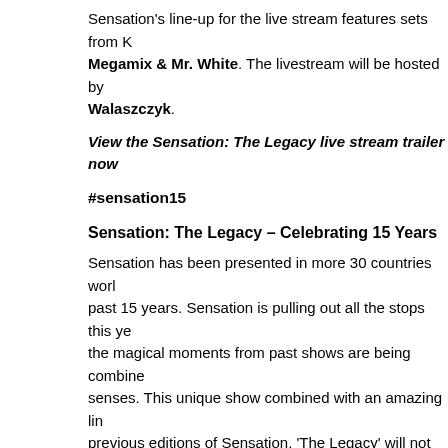Sensation's line-up for the live stream features sets from K... Megamix & Mr. White. The livestream will be hosted by Walaszczyk.
View the Sensation: The Legacy live stream trailer now
#sensation15
Sensation: The Legacy – Celebrating 15 Years
Sensation has been presented in more 30 countries worl... past 15 years. Sensation is pulling out all the stops this ye... the magical moments from past shows are being combine... senses. This unique show combined with an amazing lin... previous editions of Sensation, 'The Legacy' will not be g... once-in-a-lifetime chance.
About Beatport
Beatport is the trusted home of the global electronic musi... alike can connect, discover, and participate in the evolutio... bring the life-changing experience of dance music to th...